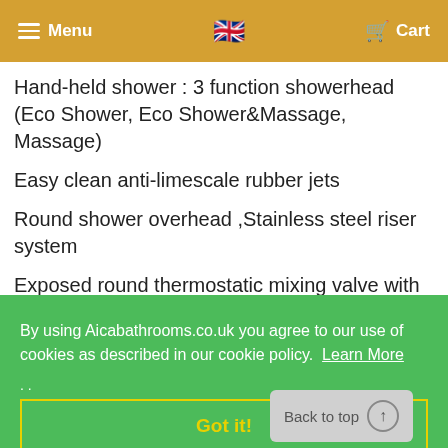Menu  [UK Flag]  Cart
Hand-held shower : 3 function showerhead (Eco Shower, Eco Shower&Massage, Massage)
Easy clean anti-limescale rubber jets
Round shower overhead ,Stainless steel riser system
Exposed round thermostatic mixing valve with ... set
By using Aicabathrooms.co.uk you agree to our use of cookies as described in our cookie policy. Learn More
Got it!
Back to top
Thermostatic Faucet: